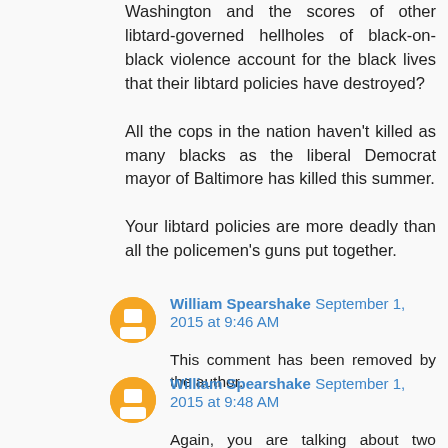Washington and the scores of other libtard-governed hellholes of black-on-black violence account for the black lives that their libtard policies have destroyed?

All the cops in the nation haven't killed as many blacks as the liberal Democrat mayor of Baltimore has killed this summer.

Your libtard policies are more deadly than all the policemen's guns put together.
William Spearshake September 1, 2015 at 9:46 AM
This comment has been removed by the author.
William Spearshake September 1, 2015 at 9:48 AM
Again, you are talking about two different things. Yes, there is way too much black on black